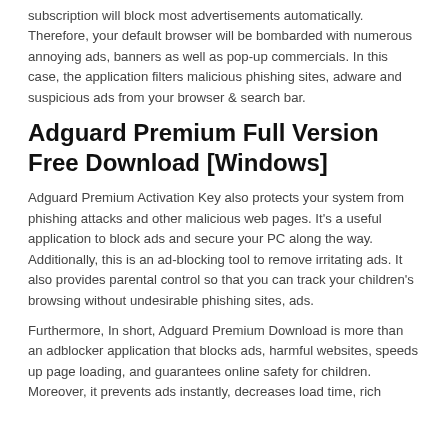subscription will block most advertisements automatically. Therefore, your default browser will be bombarded with numerous annoying ads, banners as well as pop-up commercials. In this case, the application filters malicious phishing sites, adware and suspicious ads from your browser & search bar.
Adguard Premium Full Version Free Download [Windows]
Adguard Premium Activation Key also protects your system from phishing attacks and other malicious web pages. It's a useful application to block ads and secure your PC along the way. Additionally, this is an ad-blocking tool to remove irritating ads. It also provides parental control so that you can track your children's browsing without undesirable phishing sites, ads.
Furthermore, In short, Adguard Premium Download is more than an adblocker application that blocks ads, harmful websites, speeds up page loading, and guarantees online safety for children. Moreover, it prevents ads instantly, decreases load time, rich